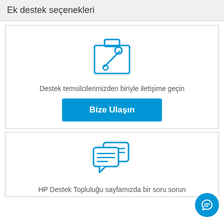Ek destek seçenekleri
[Figure (illustration): Toolbox/wrench icon in blue outline style]
Destek temsilcilerimizden biriyle iletişime geçin
Bize Ulaşın
[Figure (illustration): Chat/speech bubbles icon in blue outline style]
HP Destek Topluluğu sayfamızda bir soru sorun